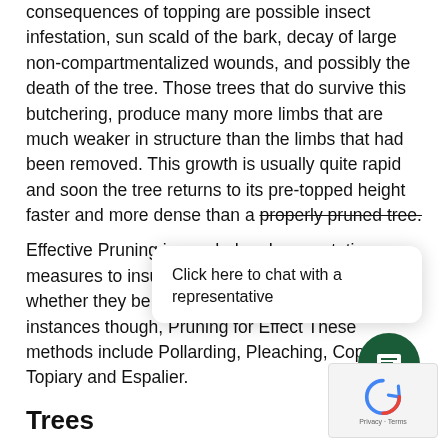consequences of topping are possible insect infestation, sun scald of the bark, decay of large non-compartmentalized wounds, and possibly the death of the tree. Those trees that do survive this butchering, produce many more limbs that are much weaker in structure than the limbs that had been removed. This growth is usually quite rapid and soon the tree returns to its pre-topped height faster and more dense than a properly pruned tree.
Effective Pruning is needed and preventative measures to insure the health of the plants, whether they be trees or shrubs. In certain instances though, Pruning for Effect These methods include Pollarding, Pleaching, Coppicing, Topiary and Espalier.
[Figure (other): Live chat popup overlay with text 'Click here to chat with a representative' and a green circular chat icon button]
Trees